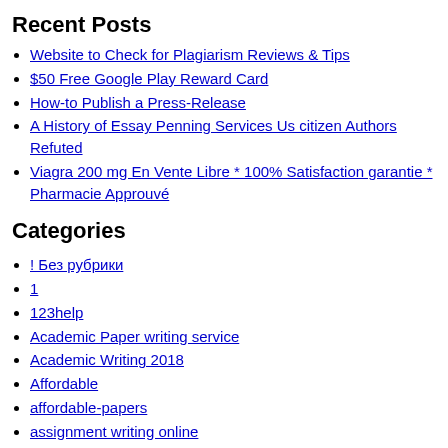Recent Posts
Website to Check for Plagiarism Reviews & Tips
$50 Free Google Play Reward Card
How-to Publish a Press-Release
A History of Essay Penning Services Us citizen Authors Refuted
Viagra 200 mg En Vente Libre * 100% Satisfaction garantie * Pharmacie Approuvé
Categories
! Без рубрики
1
123help
Academic Paper writing service
Academic Writing 2018
Affordable
affordable-papers
assignment writing online
b
Best Essay Writer of 2018 for students
Best Essay Writers Site
Bissell Big Green
Blog